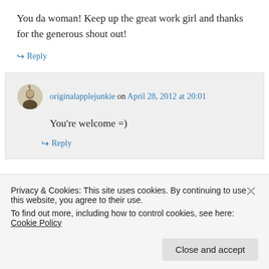You da woman! Keep up the great work girl and thanks for the generous shout out!
↪ Reply
originalapplejunkie on April 28, 2012 at 20:01
You're welcome =)
↪ Reply
Privacy & Cookies: This site uses cookies. By continuing to use this website, you agree to their use. To find out more, including how to control cookies, see here: Cookie Policy